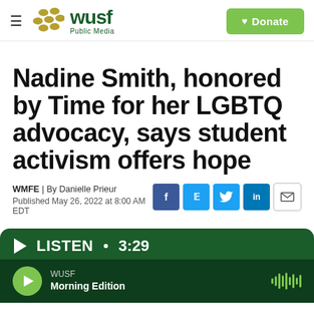WUSF Public Media — Donate
Nadine Smith, honored by Time for her LGBTQ advocacy, says student activism offers hope
WMFE | By Danielle Prieur
Published May 26, 2022 at 8:00 AM EDT
LISTEN • 3:29
WUSF
Morning Edition